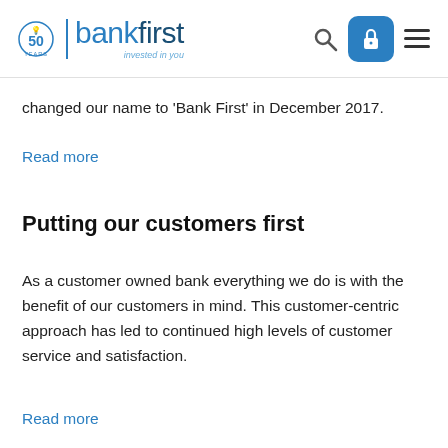[Figure (logo): Bank First logo with '50 Years' badge, padlock login button, search icon, and hamburger menu icon in the website header]
changed our name to ‘Bank First’ in December 2017.
Read more
Putting our customers first
As a customer owned bank everything we do is with the benefit of our customers in mind. This customer-centric approach has led to continued high levels of customer service and satisfaction.
Read more